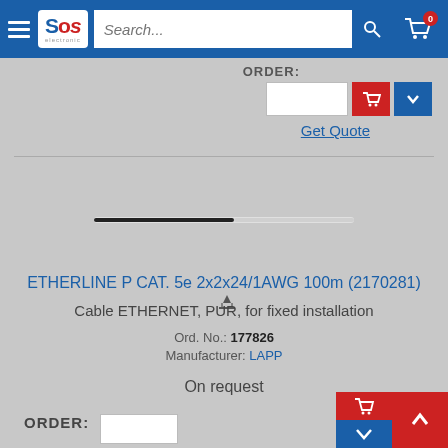SOS electronic - navigation bar with search
ORDER:
Get Quote
[Figure (photo): Ethernet cable ETHERLINE P CAT. 5e - thin dark cable shown horizontally against gray background]
ETHERLINE P CAT. 5e 2x2x24/1AWG 100m (2170281)
Cable ETHERNET, PUR, for fixed installation
Ord. No.: 177826
Manufacturer: LAPP
On request
ORDER: